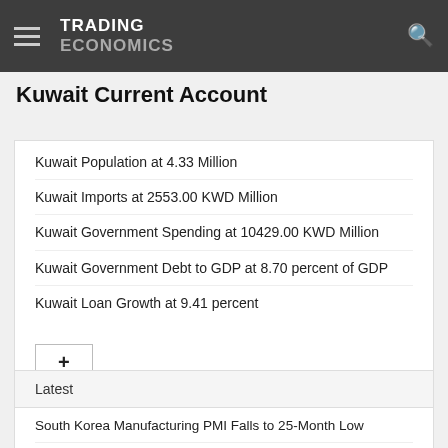TRADING ECONOMICS
Kuwait Current Account
Kuwait Population at 4.33 Million
Kuwait Imports at 2553.00 KWD Million
Kuwait Government Spending at 10429.00 KWD Million
Kuwait Government Debt to GDP at 8.70 percent of GDP
Kuwait Loan Growth at 9.41 percent
Latest
South Korea Manufacturing PMI Falls to 25-Month Low
Japan Manufacturing PMI Revised Higher
US Futures Extend Fall on Rate Hike Jitters
Indonesia Manufacturing PMI Rises to 4-Month High